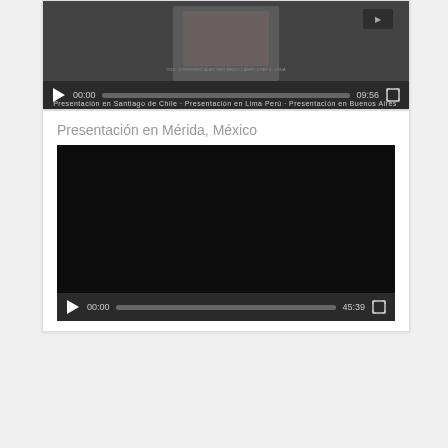[Figure (screenshot): Video player showing a presenter in a suit, with playback controls showing time 00:00 and duration 09:56]
Presentación en Mérida, México
[Figure (screenshot): Video player with black frame (no preview), playback controls showing time 00:00 and duration 45:39]